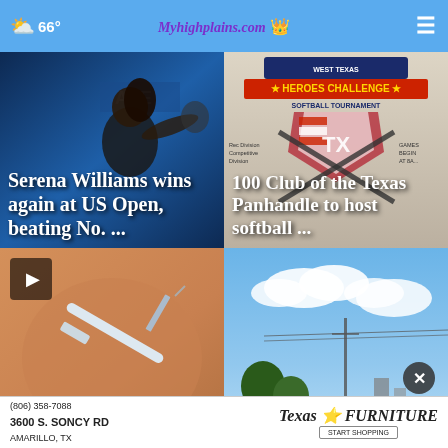66° Myhighplains.com
[Figure (photo): Serena Williams in action at US Open tennis match, blue background]
Serena Williams wins again at US Open, beating No. ...
[Figure (photo): West Texas Heroes Challenge Softball Tournament flyer with crossed softball bats]
100 Club of the Texas Panhandle to host softball ...
[Figure (photo): Close-up photo of a medical injection/syringe with play button overlay]
[Figure (photo): Blue sky with clouds and utility poles]
FDA ...
(806) 358-7088  3600 S. SONCY RD  AMARILLO, TX  Texas Furniture  START SHOPPING